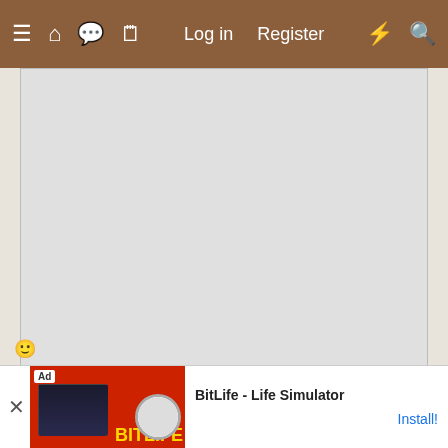≡  🏠  💬  🗒  Log in  Register  ⚡  🔍
[Figure (other): Gray advertisement placeholder box]
May 10, 2015  Thread starter  #8
NatLovesChicks
Hatching
Just checked on her again! Her poop looks more solid than it has looked in weeks! I will feed her more calcium from ground up egg shells and give her another bath! I hope this works!
[Figure (screenshot): BitLife - Life Simulator advertisement banner with game screenshot and Install button]